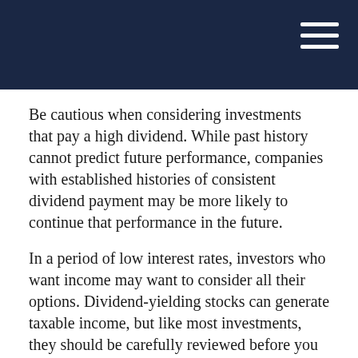Be cautious when considering investments that pay a high dividend. While past history cannot predict future performance, companies with established histories of consistent dividend payment may be more likely to continue that performance in the future.
In a period of low interest rates, investors who want income may want to consider all their options. Dividend-yielding stocks can generate taxable income, but like most investments, they should be carefully reviewed before you commit any dollars.
Keep in mind that the return and principal value of stock prices will fluctuate as market conditions change. And shares, when sold, may be worth more or less than their original cost.
The information in this article is not intended as tax or legal advice. It may not be used for the purpose of avoiding any